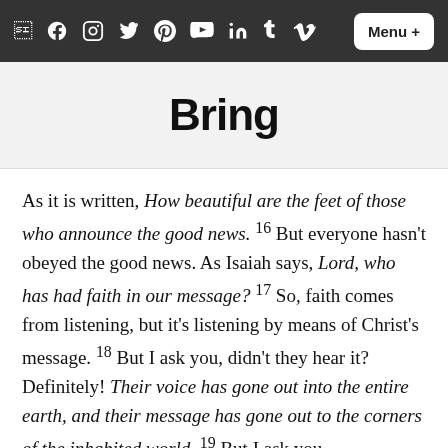Social media icons: Facebook, Instagram, Twitter, Pinterest, YouTube, LinkedIn, Tumblr, Vimeo | Menu +
Bring
As it is written, How beautiful are the feet of those who announce the good news. 16 But everyone hasn't obeyed the good news. As Isaiah says, Lord, who has had faith in our message? 17 So, faith comes from listening, but it's listening by means of Christ's message. 18 But I ask you, didn't they hear it? Definitely! Their voice has gone out into the entire earth, and their message has gone out to the corners of the inhabited world. 19 But I ask you